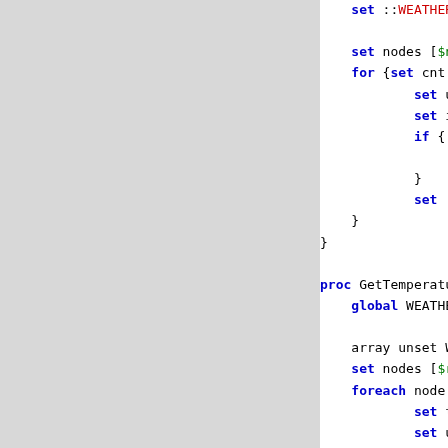[Figure (screenshot): Code snippet in Tcl showing proc bodies for weather icon and temperature data retrieval, with syntax highlighting: keywords in blue bold, variables in green/red, strings in green.]